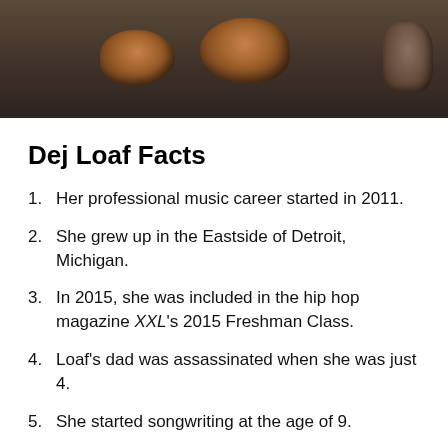[Figure (photo): Partial photo showing decorative shoes on a dark surface, cropped at the top of the page]
Dej Loaf Facts
Her professional music career started in 2011.
She grew up in the Eastside of Detroit, Michigan.
In 2015, she was included in the hip hop magazine XXL's 2015 Freshman Class.
Loaf's dad was assassinated when she was just 4.
She started songwriting at the age of 9.
Her mom suffered from a brain aneurysm in the past. Her head was cut open for that.
Her stage name, “Dej Loaf” has been taken from “Deja,”